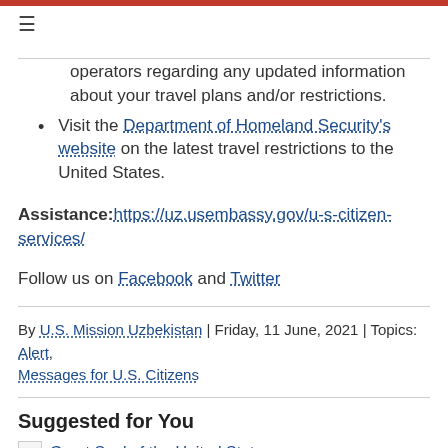≡
operators regarding any updated information about your travel plans and/or restrictions.
Visit the Department of Homeland Security's website on the latest travel restrictions to the United States.
Assistance: https://uz.usembassy.gov/u-s-citizen-services/
Follow us on Facebook and Twitter
By U.S. Mission Uzbekistan | Friday, 11 June, 2021 | Topics: Alert, Messages for U.S. Citizens
Suggested for You
Great Seal of the United States